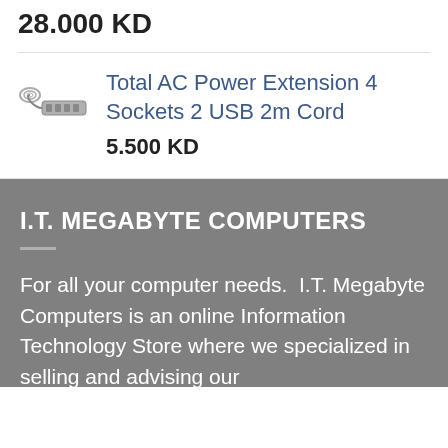28.000 KD
[Figure (photo): Small product image of a power extension strip]
Total AC Power Extension 4 Sockets 2 USB 2m Cord
5.500 KD
I.T. MEGABYTE COMPUTERS
For all your computer needs.  I.T. Megabyte Computers is an online Information Technology Store where we specialized in selling and advising our